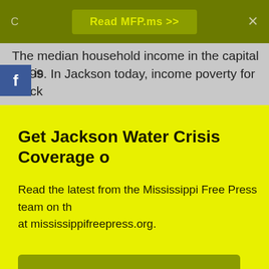Read MFP.ms >>
The median household income in the capital city is [amount]. In Jackson today, income poverty for Black [continues...]
Get Jackson Water Crisis Coverage o[n]
Read the latest from the Mississippi Free Press team on th[is] at mississippifreepress.org.
Go Now >>
Neighborhood blight also factors into crime as abandoned houses, often called bandos, shelter runaway youth and provide a haven for drug use or gang activity—and the [continues...]